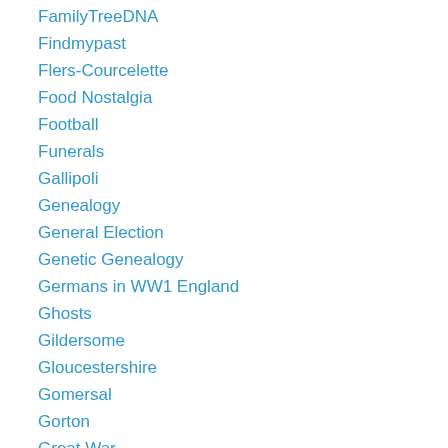FamilyTreeDNA
Findmypast
Flers-Courcelette
Food Nostalgia
Football
Funerals
Gallipoli
Genealogy
General Election
Genetic Genealogy
Germans in WW1 England
Ghosts
Gildersome
Gloucestershire
Gomersal
Gorton
Great War
Grenadier Guards
GRO
Guild of One-Name Studies